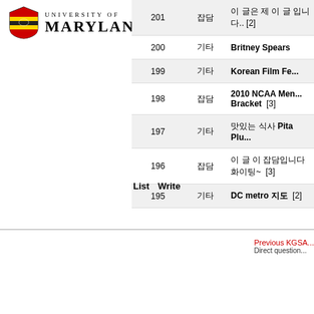| 번호 | 분류 | 제목 |
| --- | --- | --- |
| 201 | 잡담 | 이 글은 제 이 글 입니다.. [2] |
| 200 | 기타 | Britney Spears |
| 199 | 기타 | Korean Film Fe... |
| 198 | 잡담 | 2010 NCAA Men... Bracket [3] |
| 197 | 기타 | 맛있는 식사 Pita Plu... |
| 196 | 잡담 | 이 글 이 잡담입니다 화이팅~ [3] |
| 195 | 기타 | DC metro 지도 [2] |
List   Write
[Figure (logo): University of Maryland shield logo with UNIVERSITY OF MARYLAND text]
Previous KGSA... Direct question...